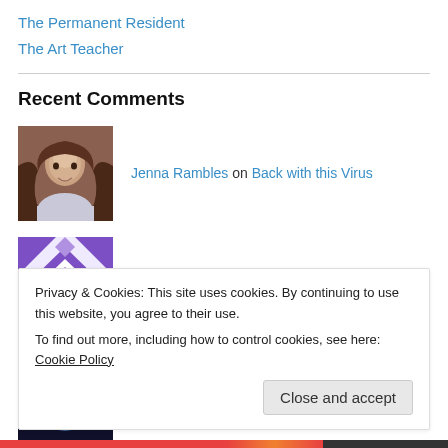The Permanent Resident
The Art Teacher
Recent Comments
Jenna Rambles on Back with this Virus
[Figure (photo): Profile photo of a young woman with long brown hair]
Kelli Bennett on The Message with Sally Yates
[Figure (illustration): Purple and white geometric quilt-style avatar icon]
Passport Overused on Old Friend
[Figure (logo): Dark navy circular logo for Passport Overused]
Privacy & Cookies: This site uses cookies. By continuing to use this website, you agree to their use.
To find out more, including how to control cookies, see here: Cookie Policy